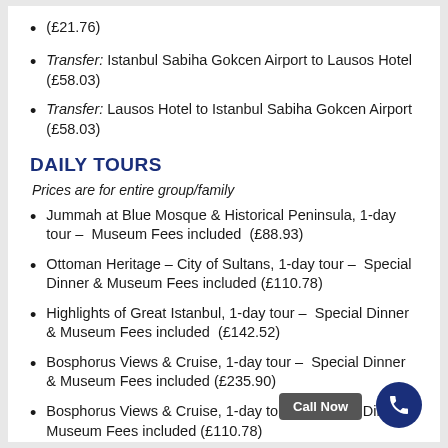(£21.76)
Transfer: Istanbul Sabiha Gokcen Airport to Lausos Hotel (£58.03)
Transfer: Lausos Hotel to Istanbul Sabiha Gokcen Airport (£58.03)
DAILY TOURS
Prices are for entire group/family
Jummah at Blue Mosque & Historical Peninsula, 1-day tour – Museum Fees included (£88.93)
Ottoman Heritage – City of Sultans, 1-day tour – Special Dinner & Museum Fees included (£110.78)
Highlights of Great Istanbul, 1-day tour – Special Dinner & Museum Fees included (£142.52)
Bosphorus Views & Cruise, 1-day tour – Special Dinner & Museum Fees included (£235.90)
Bosphorus Views & Cruise, 1-day tour – Special Dinner & Museum Fees included (£110.78)